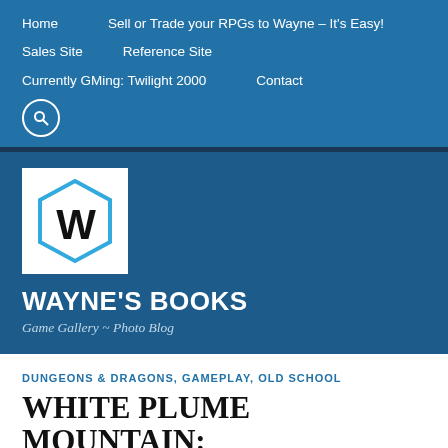Home | Sell or Trade your RPGs to Wayne – It's Easy! | Sales Site | Reference Site | Currently GMing: Twilight 2000 | Contact
[Figure (logo): Wayne's Books hexagonal logo with stylized W letter inside a blue hexagon outline on white background]
WAYNE'S BOOKS
Game Gallery ~ Photo Blog
DUNGEONS & DRAGONS, GAMEPLAY, OLD SCHOOL
WHITE PLUME MOUNTAIN: